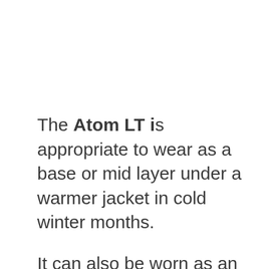The Atom LT is appropriate to wear as a base or mid layer under a warmer jacket in cold winter months.
It can also be worn as an outer layer in milder temperatures, making it quite versatile.
On the other hand, the Atom AR is slightly less versatile, as it functions best as a top